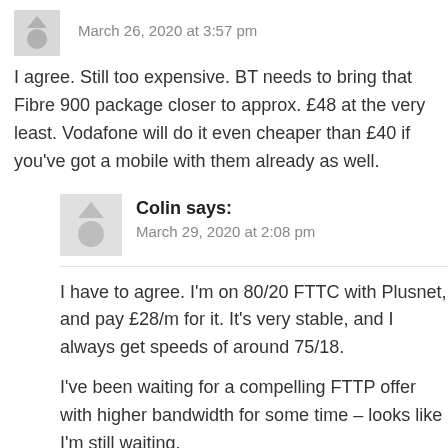March 26, 2020 at 3:57 pm
I agree. Still too expensive. BT needs to bring that Fibre 900 package closer to approx. £48 at the very least. Vodafone will do it even cheaper than £40 if you've got a mobile with them already as well.
Colin says:
March 29, 2020 at 2:08 pm
I have to agree. I'm on 80/20 FTTC with Plusnet, and pay £28/m for it. It's very stable, and I always get speeds of around 75/18.
I've been waiting for a compelling FTTP offer with higher bandwidth for some time – looks like I'm still waiting.